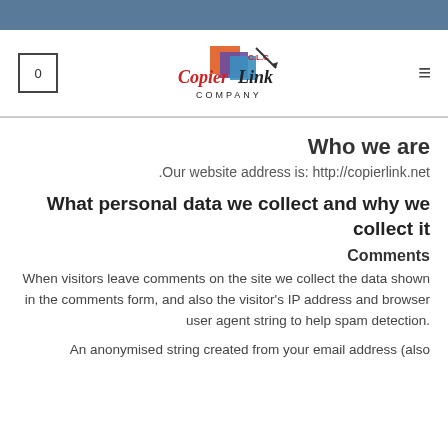[Figure (logo): Copier Link Company logo with stylized text and colored geometric shapes]
Who we are
.Our website address is: http://copierlink.net
What personal data we collect and why we collect it
Comments
When visitors leave comments on the site we collect the data shown in the comments form, and also the visitor's IP address and browser user agent string to help spam detection.
An anonymised string created from your email address (also